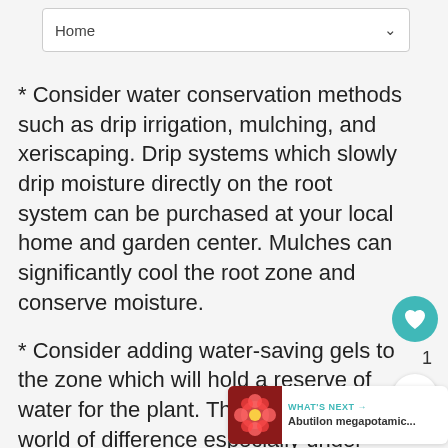[Figure (screenshot): Dropdown navigation bar showing 'Home' with a chevron arrow]
* Consider water conservation methods such as drip irrigation, mulching, and xeriscaping. Drip systems which slowly drip moisture directly on the root system can be purchased at your local home and garden center. Mulches can significantly cool the root zone and conserve moisture.
* Consider adding water-saving gels to the zone which will hold a reserve of water for the plant. These can make a world of difference especially under stressful conditions. Be